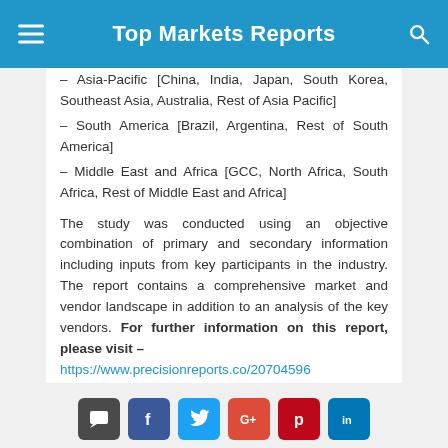Top Markets Reports
– Asia-Pacific [China, India, Japan, South Korea, Southeast Asia, Australia, Rest of Asia Pacific]
– South America [Brazil, Argentina, Rest of South America]
– Middle East and Africa [GCC, North Africa, South Africa, Rest of Middle East and Africa]
The study was conducted using an objective combination of primary and secondary information including inputs from key participants in the industry. The report contains a comprehensive market and vendor landscape in addition to an analysis of the key vendors. For further information on this report, please visit – https://www.precisionreports.co/20704596
Social share buttons: comment, facebook, twitter, google+, pinterest, linkedin